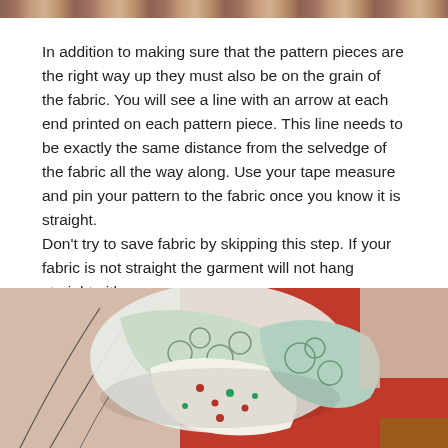[Figure (photo): Top portion of a photograph showing fabric/sewing materials, cropped at the top edge of the page.]
In addition to making sure that the pattern pieces are the right way up they must also be on the grain of the fabric. You will see a line with an arrow at each end printed on each pattern piece. This line needs to be exactly the same distance from the selvedge of the fabric all the way along. Use your tape measure and pin your pattern to the fabric once you know it is straight.
Don't try to save fabric by skipping this step. If your fabric is not straight the garment will not hang straight either.
[Figure (photo): Photograph showing fabric pattern pieces and sewing patterns laid out, with patterned fabric pieces (floral/geometric designs in green, red, white) on a red surface with pattern paper.]